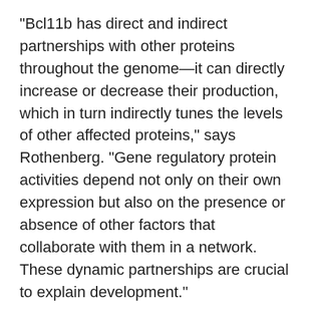"Bcl11b has direct and indirect partnerships with other proteins throughout the genome—it can directly increase or decrease their production, which in turn indirectly tunes the levels of other affected proteins," says Rothenberg. "Gene regulatory protein activities depend not only on their own expression but also on the presence or absence of other factors that collaborate with them in a network. These dynamic partnerships are crucial to explain development."
The paper is titled "Bcl11b sets pro-T cell fate by site-specific cofactor recruitment and by repressing Id2 and Zbtb16." The first authors are Hiroyuki Hosokawa, former Caltech senior postdoctoral scholar now at Tokai University School of Medicine in Japan, and Maile Romero-Wolf, research technician assistant. Other co-authors are Mary Yui, research professor of biology and biological engineering; Jonas Ungerbäck, a former Caltech postdoctoral scholar now at Lund University in